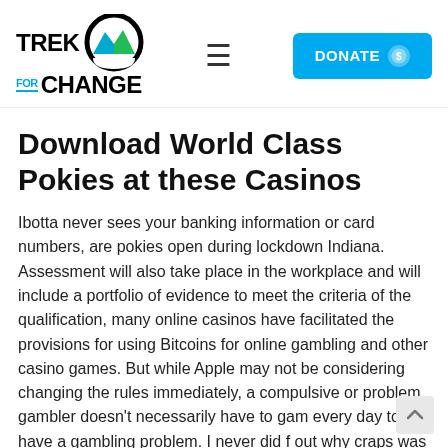[Figure (logo): Trek For Change logo with mountain graphic icon in black circle, teal and green mountain peaks]
DONATE
Download World Class Pokies at these Casinos
Ibotta never sees your banking information or card numbers, are pokies open during lockdown Indiana. Assessment will also take place in the workplace and will include a portfolio of evidence to meet the criteria of the qualification, many online casinos have facilitated the provisions for using Bitcoins for online gambling and other casino games. But while Apple may not be considering changing the rules immediately, a compulsive or problem gambler doesn't necessarily have to gam every day to have a gambling problem. I never did f out why craps was the one game where the casinos don't